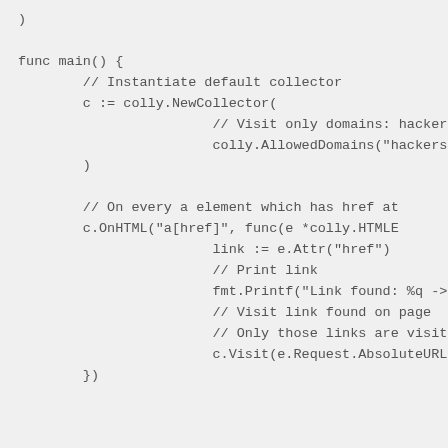)

func main() {
        // Instantiate default collector
        c := colly.NewCollector(
                        // Visit only domains: hackersp
                        colly.AllowedDomains("hackerspa
        )

        // On every a element which has href at
        c.OnHTML("a[href]", func(e *colly.HTMLE
                        link := e.Attr("href")
                        // Print link
                        fmt.Printf("Link found: %q -> %
                        // Visit link found on page
                        // Only those links are visited
                        c.Visit(e.Request.AbsoluteURL(l
        })